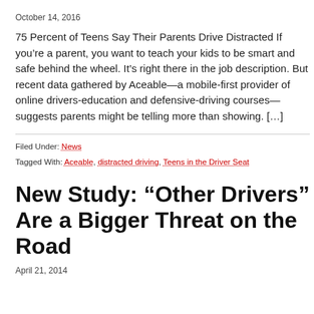October 14, 2016
75 Percent of Teens Say Their Parents Drive Distracted If you’re a parent, you want to teach your kids to be smart and safe behind the wheel. It’s right there in the job description. But recent data gathered by Aceable—a mobile-first provider of online drivers-education and defensive-driving courses—suggests parents might be telling more than showing. […]
Filed Under: News
Tagged With: Aceable, distracted driving, Teens in the Driver Seat
New Study: “Other Drivers” Are a Bigger Threat on the Road
April 21, 2014